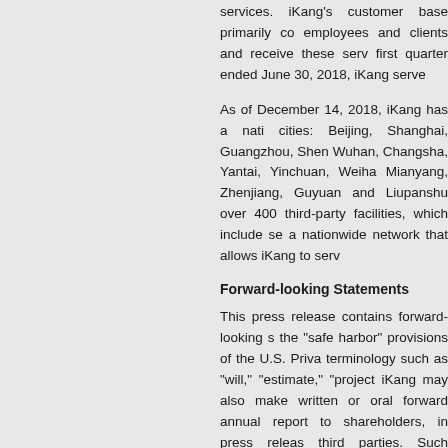services. iKang's customer base primarily co employees and clients and receive these serv first quarter ended June 30, 2018, iKang serve
As of December 14, 2018, iKang has a nati cities: Beijing, Shanghai, Guangzhou, Shen Wuhan, Changsha, Yantai, Yinchuan, Weiha Mianyang, Zhenjiang, Guyuan and Liupanshu over 400 third-party facilities, which include se a nationwide network that allows iKang to serv
Forward-looking Statements
This press release contains forward-looking s the "safe harbor" provisions of the U.S. Priva terminology such as "will," "estimate," "project iKang may also make written or oral forward annual report to shareholders, in press releas third parties. Such statements involve certain implied in the forward-looking statements. The Agreement will be terminated; whether closing Company's goals and strategies; its future b customer base and network of medical cente acceptance of its brand and services; compe structure, business and industry; fluctuations i risks is included in iKang's filing with the Secu as a result of new information, future events o